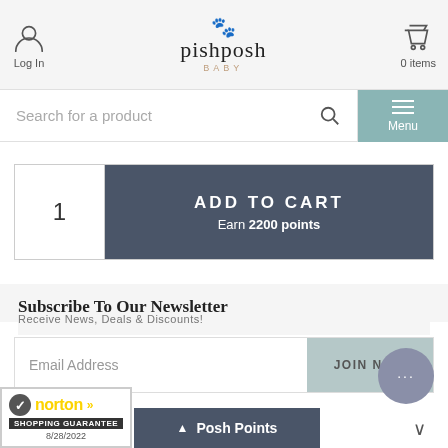[Figure (screenshot): PishPosh Baby e-commerce website header with logo, login, cart, search bar, and menu button]
Log In
pishposh BABY
0 items
Search for a product
Menu
1
ADD TO CART Earn 2200 points
Subscribe To Our Newsletter
Receive News, Deals & Discounts!
Email Address
JOIN NOW
Contact Us
▲ Posh Points
[Figure (logo): Norton Shopping Guarantee badge with checkmark, 8/28/2022 date]